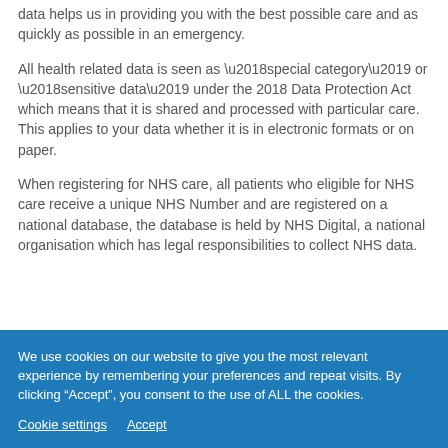data helps us in providing you with the best possible care and as quickly as possible in an emergency.
All health related data is seen as ‘special category’ or ‘sensitive data’ under the 2018 Data Protection Act which means that it is shared and processed with particular care. This applies to your data whether it is in electronic formats or on paper.
When registering for NHS care, all patients who eligible for NHS care receive a unique NHS Number and are registered on a national database, the database is held by NHS Digital, a national organisation which has legal responsibilities to collect NHS data.
We use cookies on our website to give you the most relevant experience by remembering your preferences and repeat visits. By clicking “Accept”, you consent to the use of ALL the cookies.
Cookie settings   Accept